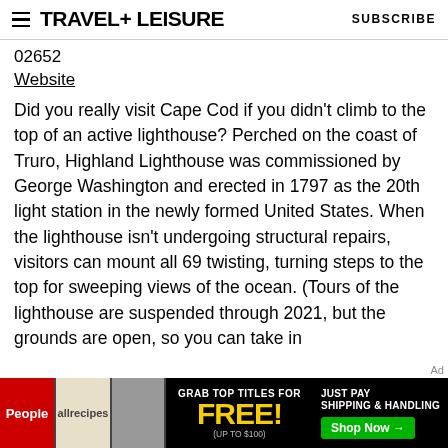TRAVEL+ LEISURE   SUBSCRIBE
02652
Website
Did you really visit Cape Cod if you didn't climb to the top of an active lighthouse? Perched on the coast of Truro, Highland Lighthouse was commissioned by George Washington and erected in 1797 as the 20th light station in the newly formed United States. When the lighthouse isn't undergoing structural repairs, visitors can mount all 69 twisting, turning steps to the top for sweeping views of the ocean. (Tours of the lighthouse are suspended through 2021, but the grounds are open, so you can take in
[Figure (other): Advertisement banner: People and allrecipes magazines. Text reads 'GRAB TOP TITLES FOR FREE! (UP TO $100)' and 'JUST PAY SHIPPING & HANDLING Shop Now →']